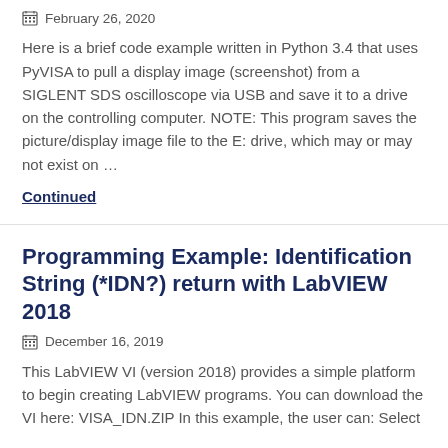February 26, 2020
Here is a brief code example written in Python 3.4 that uses PyVISA to pull a display image (screenshot) from a SIGLENT SDS oscilloscope via USB and save it to a drive on the controlling computer. NOTE: This program saves the picture/display image file to the E: drive, which may or may not exist on …
Continued
Programming Example: Identification String (*IDN?) return with LabVIEW 2018
December 16, 2019
This LabVIEW VI (version 2018) provides a simple platform to begin creating LabVIEW programs. You can download the VI here: VISA_IDN.ZIP In this example, the user can: Select